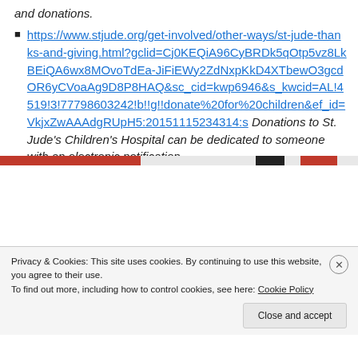and donations.
https://www.stjude.org/get-involved/other-ways/st-jude-thanks-and-giving.html?gclid=Cj0KEQiA96CyBRDk5qOtp5vz8LkBEiQA6wx8MOvoTdEa-JiFiEWy2ZdNxpKkD4XTbewO3gcdOR6yCVoaAg9D8P8HAQ&sc_cid=kwp6946&s_kwcid=AL!4519!3!77798603242!b!!g!!donate%20for%20children&ef_id=VkjxZwAAAdgRUpH5:20151115234314:s Donations to St. Jude’s Children’s Hospital can be dedicated to someone with an electronic notification.
Privacy & Cookies: This site uses cookies. By continuing to use this website, you agree to their use.
To find out more, including how to control cookies, see here: Cookie Policy
Close and accept